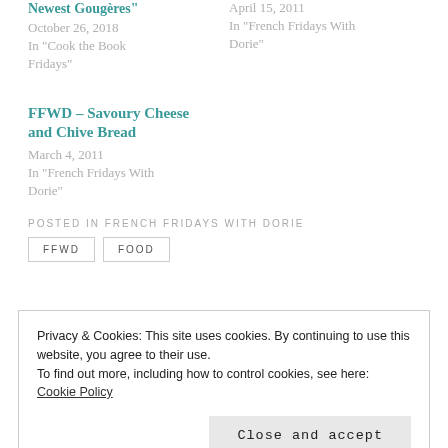Newest Gougères"
October 26, 2018
In "Cook the Book Fridays"
April 15, 2011
In "French Fridays With Dorie"
FFWD – Savoury Cheese and Chive Bread
March 4, 2011
In "French Fridays With Dorie"
POSTED IN FRENCH FRIDAYS WITH DORIE
FFWD
FOOD
Privacy & Cookies: This site uses cookies. By continuing to use this website, you agree to their use.
To find out more, including how to control cookies, see here: Cookie Policy
Close and accept